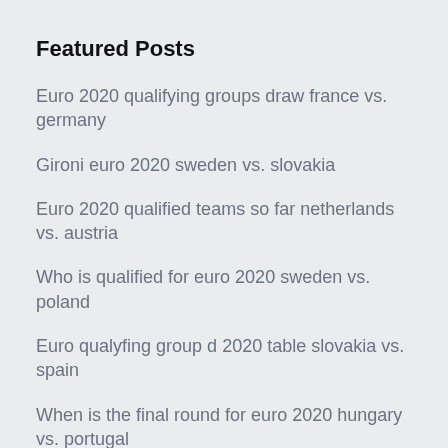Featured Posts
Euro 2020 qualifying groups draw france vs. germany
Gironi euro 2020 sweden vs. slovakia
Euro 2020 qualified teams so far netherlands vs. austria
Who is qualified for euro 2020 sweden vs. poland
Euro qualyfing group d 2020 table slovakia vs. spain
When is the final round for euro 2020 hungary vs. portugal
Live euro 2020 tables north macedonia vs. netherlands
Qualification euro 2020 france croatia vs. scotland